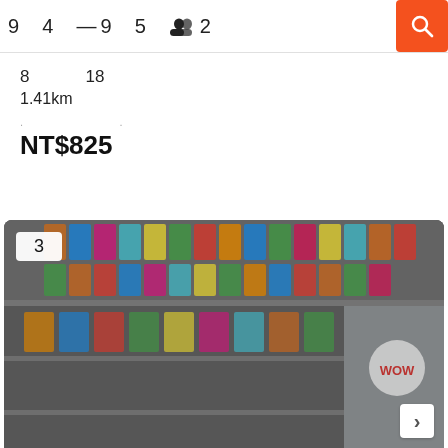9 4 — 9 5   👥 2
8   18
1.41km
· ·
NT$825
[Figure (photo): Interior photo of a colorful building with rainbow-colored glass panels on the ceiling/roof structure, metal railings, and a WOW sign visible on the right. A badge showing '3' appears in the top-left corner.]